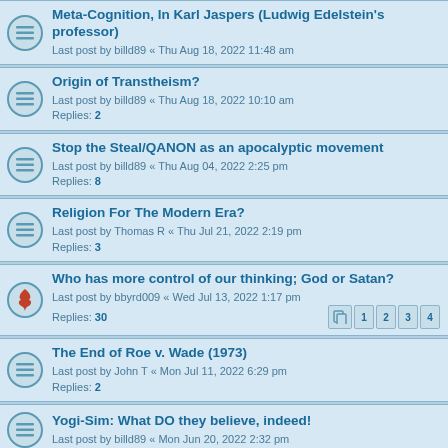Meta-Cognition, In Karl Jaspers (Ludwig Edelstein's professor)
Last post by billd89 « Thu Aug 18, 2022 11:48 am
Origin of Transtheism?
Last post by billd89 « Thu Aug 18, 2022 10:10 am
Replies: 2
Stop the Steal/QANON as an apocalyptic movement
Last post by billd89 « Thu Aug 04, 2022 2:25 pm
Replies: 8
Religion For The Modern Era?
Last post by Thomas R « Thu Jul 21, 2022 2:19 pm
Replies: 3
Who has more control of our thinking; God or Satan?
Last post by bbyrd009 « Wed Jul 13, 2022 1:17 pm
Replies: 30
The End of Roe v. Wade (1973)
Last post by John T « Mon Jul 11, 2022 6:29 pm
Replies: 2
Yogi-Sim: What DO they believe, indeed!
Last post by billd89 « Mon Jun 20, 2022 2:32 pm
Modern American Evangelicals, Focused
Last post by Thor « Mon Jun 20, 2022 12:31 pm
Replies: 3
Ancient Israeli Wheat/Bread
Last post by John2 « Sat Jun 18, 2022 12:48 pm
Replies: 1